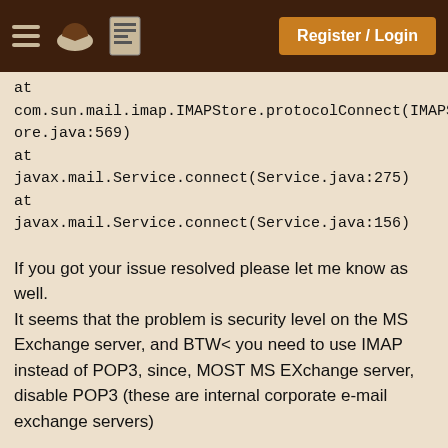Register / Login
at com.sun.mail.imap.IMAPStore.protocolConnect(IMAPStore.java:569)
at javax.mail.Service.connect(Service.java:275)
at javax.mail.Service.connect(Service.java:156)
If you got your issue resolved please let me know as well.
It seems that the problem is security level on the MS Exchange server, and BTW< you need to use IMAP instead of POP3, since, MOST MS EXchange server, disable POP3 (these are internal corporate e-mail exchange servers)
Vivek Mathur , Greenhorn
Nov 28, 2007 01:26:00
Hi Nancy and kamal